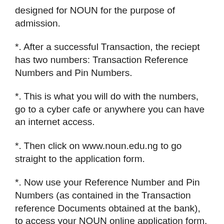designed for NOUN for the purpose of admission.
*. After a successful Transaction, the reciept has two numbers: Transaction Reference Numbers and Pin Numbers.
*. This is what you will do with the numbers, go to a cyber cafe or anywhere you can have an internet access.
*. Then click on www.noun.edu.ng to go straight to the application form.
*. Now use your Reference Number and Pin Numbers (as contained in the Transaction reference Documents obtained at the bank), to access your NOUN online application form.